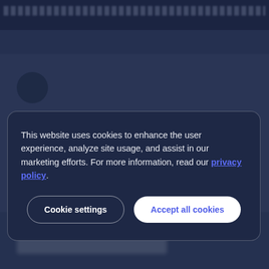[Figure (screenshot): Blurred website background with dark navy navigation bar and page content behind a cookie consent modal]
This website uses cookies to enhance the user experience, analyze site usage, and assist in our marketing efforts. For more information, read our privacy policy.